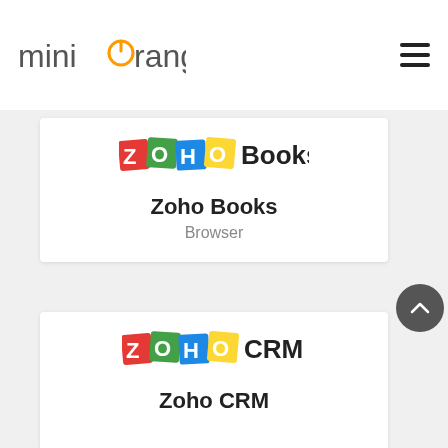[Figure (logo): miniOrange logo with orange circular icon and dark grey text]
[Figure (other): Hamburger menu icon (three horizontal lines)]
[Figure (other): Search input box with teal search icon]
[Figure (other): Zoho Books product card with Zoho Books logo, title 'Zoho Books', subtitle 'Browser']
[Figure (other): Zoho CRM product card with Zoho CRM logo, title 'Zoho CRM']